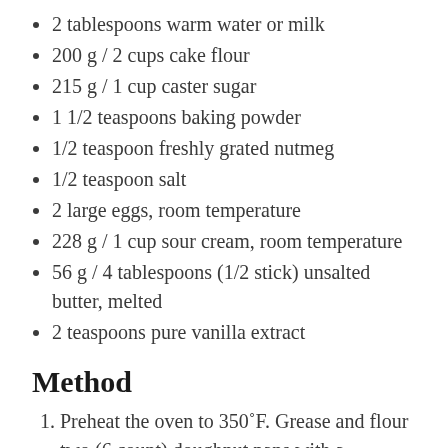2 tablespoons warm water or milk
200 g / 2 cups cake flour
215 g / 1 cup caster sugar
1 1/2 teaspoons baking powder
1/2 teaspoon freshly grated nutmeg
1/2 teaspoon salt
2 large eggs, room temperature
228 g / 1 cup sour cream, room temperature
56 g / 4 tablespoons (1/2 stick) unsalted butter, melted
2 teaspoons pure vanilla extract
Method
Preheat the oven to 350˚F. Grease and flour two (6 count) doughnut pans with a